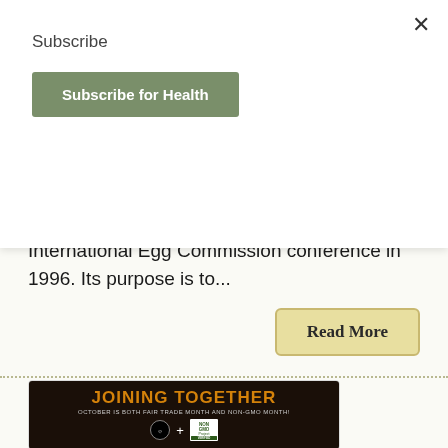×
Subscribe
Subscribe for Health
the world on the second Friday in October, this day of celebration came to be at the International Egg Commission conference in 1996. Its purpose is to...
Read More
[Figure (photo): Dark background image with coffee beans, showing 'JOINING TOGETHER' in bold orange text, subtitle 'OCTOBER IS BOTH FAIR TRADE MONTH AND NON-GMO MONTH!', Fairtrade logo, plus sign, and Non-GMO Project Verified logo]